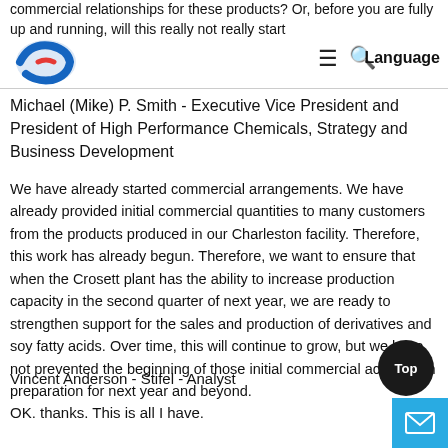commercial relationships for these products? Or, before you are fully up and running, will this really not really start
Michael (Mike) P. Smith - Executive Vice President and President of High Performance Chemicals, Strategy and Business Development
We have already started commercial arrangements. We have already provided initial commercial quantities to many customers from the products produced in our Charleston facility. Therefore, this work has already begun. Therefore, we want to ensure that when the Crosett plant has the ability to increase production capacity in the second quarter of next year, we are ready to strengthen support for the sales and production of derivatives and soy fatty acids. Over time, this will continue to grow, but we have not prevented the beginning of those initial commercial activities in preparation for next year and beyond.
Vincent Anderson - Stifel - Analyst
OK. thanks. This is all I have.